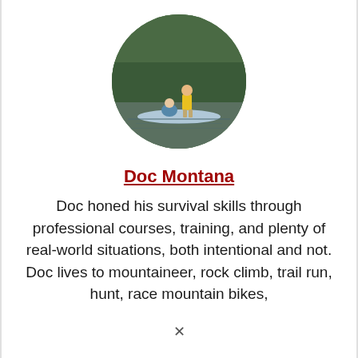[Figure (photo): Circular profile photo of a person standing on a paddleboard on a calm river or lake, with trees in the background. Another person is seated on the board. The person standing wears a yellow shirt.]
Doc Montana
Doc honed his survival skills through professional courses, training, and plenty of real-world situations, both intentional and not. Doc lives to mountaineer, rock climb, trail run, hunt, race mountain bikes,